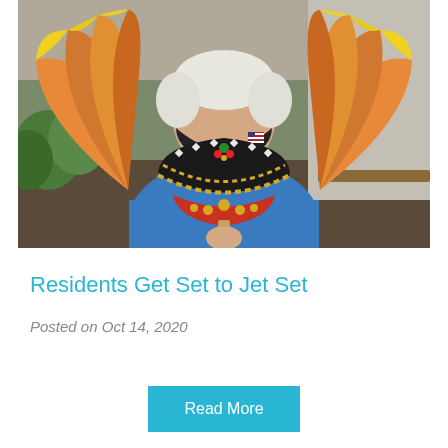[Figure (photo): An elderly person with white hair wearing a blue sweater and a black face mask with an American flag logo, holding up a large decorative fan-shaped craft resembling an Egyptian collar or headdress, painted in orange, yellow, and black with gold and jewel decorations. Photographed outdoors.]
Residents Get Set to Jet Set
Posted on Oct 14, 2020
Read More